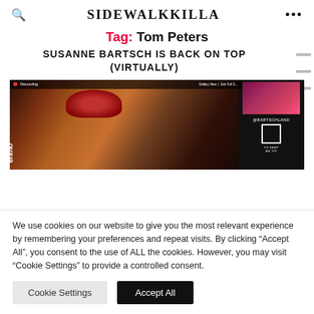SIDEWALKKILLA
Tag: Tom Peters
SUSANNE BARTSCH IS BACK ON TOP (VIRTUALLY)
[Figure (screenshot): Screenshot of a video call/recording showing a performer with an elaborate red headdress. A side panel shows a person with red hair and a QR code with @BARTSCHLAND handle and Venmo information.]
We use cookies on our website to give you the most relevant experience by remembering your preferences and repeat visits. By clicking "Accept All", you consent to the use of ALL the cookies. However, you may visit "Cookie Settings" to provide a controlled consent.